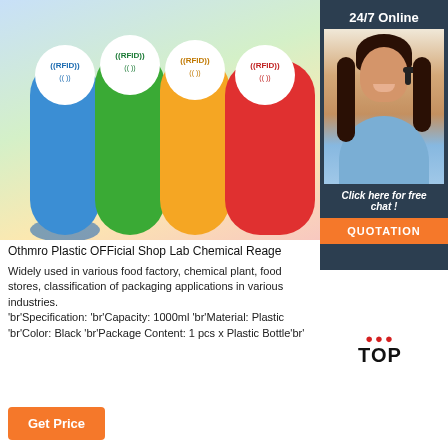[Figure (photo): Four colorful RFID silicone wristbands in blue, green, orange, and red, each with a white circular RFID chip label on top. Partially cut on right by sidebar overlay.]
[Figure (photo): Customer service agent sidebar: dark background with '24/7 Online' text, photo of smiling woman with headset, 'Click here for free chat!' text, and orange QUOTATION button.]
Othmro Plastic OFFicial Shop Lab Chemical Reage
Widely used in various food factory, chemical plant, food stores, classification of packaging applications in various industries. 'br'Specification: 'br'Capacity: 1000ml 'br'Material: Plastic 'br'Color: Black 'br'Package Content: 1 pcs x Plastic Bottle'br'
[Figure (logo): TOP button with red dots above and bold black TOP text]
Get Price